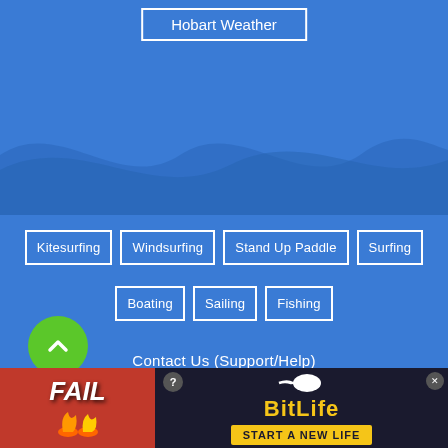Hobart Weather
Kitesurfing
Windsurfing
Stand Up Paddle
Surfing
Boating
Sailing
Fishing
Contact Us (Support/Help)
Terms Of Use
Privacy Policy
iPhone App
Android App
[Figure (screenshot): Advertisement banner: FAIL text with cartoon character, flames, BitLife logo and START A NEW LIFE button]